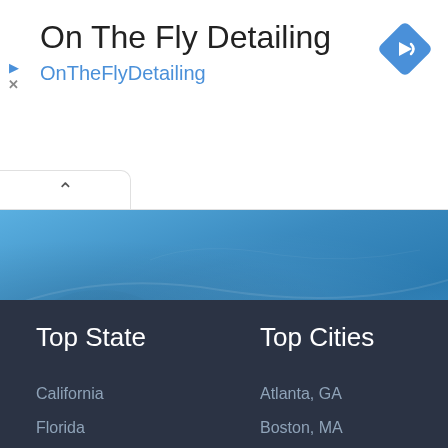On The Fly Detailing
OnTheFlyDetailing
[Figure (screenshot): Blue car interior detail photo with blue tint overlay]
Top State
Top Cities
California
Florida
Atlanta, GA
Boston, MA